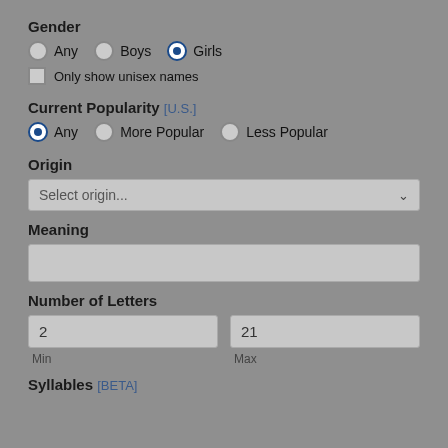Gender
Any  Boys  Girls (radio buttons, Girls selected)
Only show unisex names (checkbox, unchecked)
Current Popularity [U.S.]
Any  More Popular  Less Popular (radio buttons, Any selected)
Origin
Select origin... (dropdown)
Meaning
(text input, empty)
Number of Letters
2 (Min)   21 (Max)
Syllables [BETA]